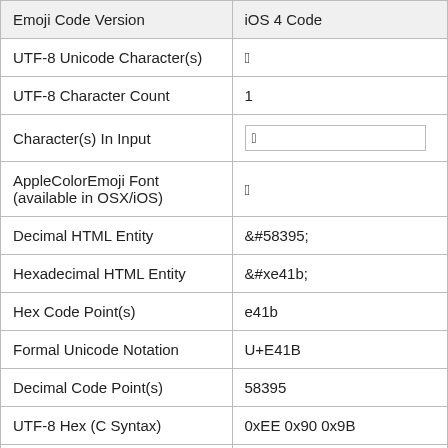| Emoji Code Version | iOS 4 Code |
| --- | --- |
| UTF-8 Unicode Character(s) |  |
| UTF-8 Character Count | 1 |
| Character(s) In Input | [input box] |
| AppleColorEmoji Font (available in OSX/iOS) |  |
| Decimal HTML Entity | &#58395; |
| Hexadecimal HTML Entity | &#xe41b; |
| Hex Code Point(s) | e41b |
| Formal Unicode Notation | U+E41B |
| Decimal Code Point(s) | 58395 |
| UTF-8 Hex (C Syntax) | 0xEE 0x90 0x9B |
| UTF-8 Hex Bytes | EE 90 9B |